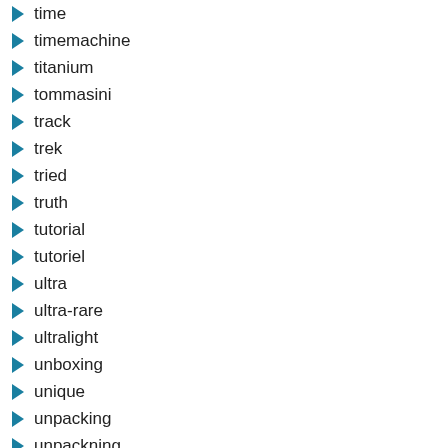time
timemachine
titanium
tommasini
track
trek
tried
truth
tutorial
tutoriel
ultra
ultra-rare
ultralight
unboxing
unique
unpacking
unpackning
unused
used
valesi
vélo
veloforma
venn
version